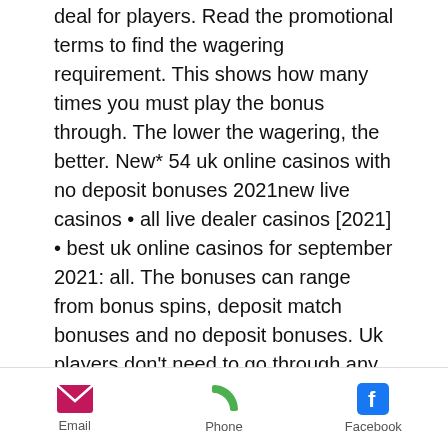deal for players. Read the promotional terms to find the wagering requirement. This shows how many times you must play the bonus through. The lower the wagering, the better. New* 54 uk online casinos with no deposit bonuses 2021new live casinos • all live dealer casinos [2021] • best uk online casinos for september 2021: all. The bonuses can range from bonus spins, deposit match bonuses and no deposit bonuses. Uk players don't need to go through any trouble finding the t&amp;c's as per. We've compiled a list of the best bonuses you can claim in april 2022 as well as more info on what you need to look out for. Our casino bonus page includes also the best no deposit casino bonus uk, sign-up and welcome bonus offers for brand new. The list consists of an in-depth analysis of
Email  Phone  Facebook